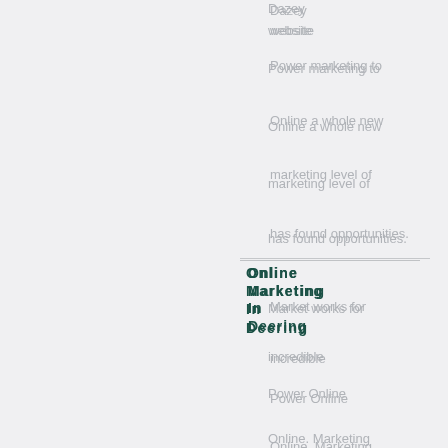Dazey
website
Power marketing to
Online a whole new
marketing level of
has found opportunities.
Online Marketing In Deering
Market works for
incredible
Power Online
Online. Marketing
marketing website
has been marketing.
Online Marketing In Denhoff
for
website
At Power marketing
Online excellence
marketing for Online